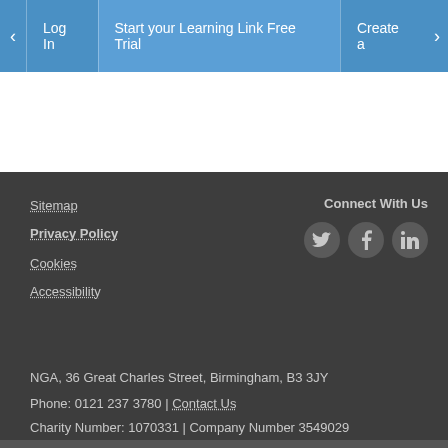< Log In | Start your Learning Link Free Trial | Create a >
Sitemap
Privacy Policy
Cookies
Accessibility
Connect With Us
NGA, 36 Great Charles Street, Birmingham, B3 3JY
Phone: 0121 237 3780 | Contact Us
Charity Number: 1070331 | Company Number 3549029